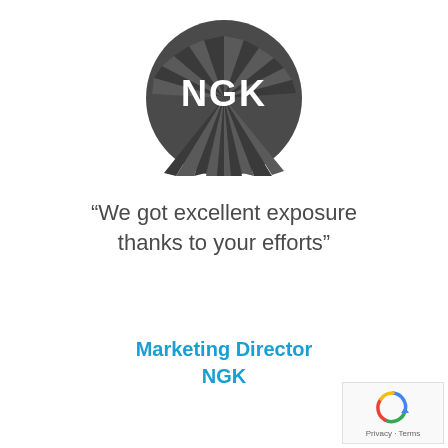[Figure (logo): NGK logo — dark gray circle with radiating spike/blade shapes and white NGK lettering in center]
“We got excellent exposure thanks to your efforts”
Marketing Director
NGK
[Figure (other): Google reCAPTCHA badge with Privacy and Terms text]